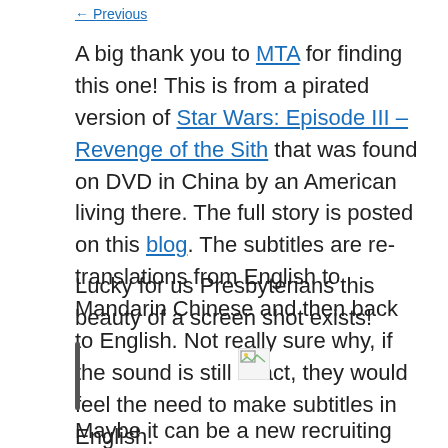A big thank you to MTA for finding this one! This is from a pirated version of Star Wars: Episode III – Revenge of the Sith that was found on DVD in China by an American living there. The full story is posted on this blog. The subtitles are re-translations from English to Mandarin Chinese and then back to English. Not really sure why, if the sound is still intact, they would feel the need to make subtitles in English.
Lucky for us Presbyterians this beauty of a screen shot exists!
[Figure (illustration): Broken image placeholder icon (image failed to load)]
Maybe it can be a new recruiting tool for the